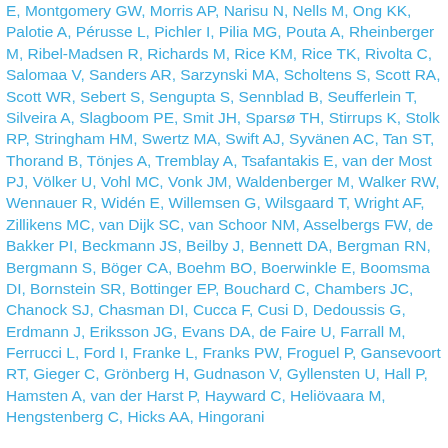E, Montgomery GW, Morris AP, Narisu N, Nells M, Ong KK, Palotie A, Pérusse L, Pichler I, Pilia MG, Pouta A, Rheinberger M, Ribel-Madsen R, Richards M, Rice KM, Rice TK, Rivolta C, Salomaa V, Sanders AR, Sarzynski MA, Scholtens S, Scott RA, Scott WR, Sebert S, Sengupta S, Sennblad B, Seufferlein T, Silveira A, Slagboom PE, Smit JH, Sparsø TH, Stirrups K, Stolk RP, Stringham HM, Swertz MA, Swift AJ, Syvänen AC, Tan ST, Thorand B, Tönjes A, Tremblay A, Tsafantakis E, van der Most PJ, Völker U, Vohl MC, Vonk JM, Waldenberger M, Walker RW, Wennauer R, Widén E, Willemsen G, Wilsgaard T, Wright AF, Zillikens MC, van Dijk SC, van Schoor NM, Asselbergs FW, de Bakker PI, Beckmann JS, Beilby J, Bennett DA, Bergman RN, Bergmann S, Böger CA, Boehm BO, Boerwinkle E, Boomsma DI, Bornstein SR, Bottinger EP, Bouchard C, Chambers JC, Chanock SJ, Chasman DI, Cucca F, Cusi D, Dedoussis G, Erdmann J, Eriksson JG, Evans DA, de Faire U, Farrall M, Ferrucci L, Ford I, Franke L, Franks PW, Froguel P, Gansevoort RT, Gieger C, Grönberg H, Gudnason V, Gyllensten U, Hall P, Hamsten A, van der Harst P, Hayward C, Heliövaara M, Hengstenberg C, Hicks AA, Hingorani